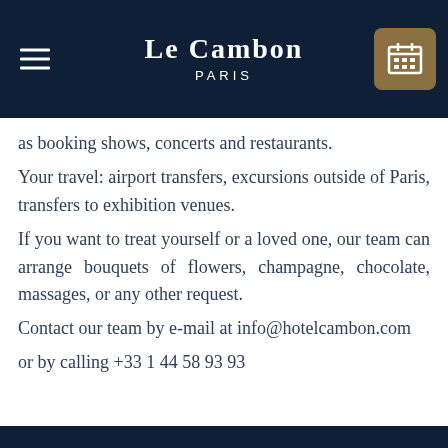Le Cambon Paris
as booking shows, concerts and restaurants.
Your travel: airport transfers, excursions outside of Paris, transfers to exhibition venues.
If you want to treat yourself or a loved one, our team can arrange bouquets of flowers, champagne, chocolate, massages, or any other request.
Contact our team by e-mail at info@hotelcambon.com
or by calling +33 1 44 58 93 93